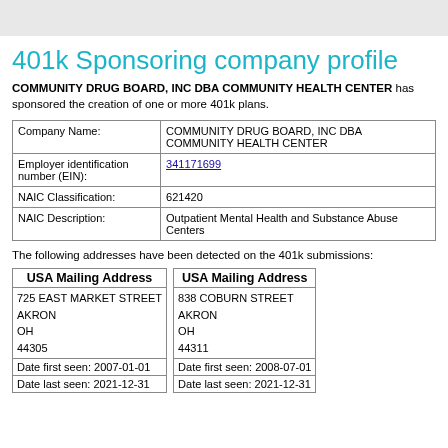401k Sponsoring company profile
COMMUNITY DRUG BOARD, INC DBA COMMUNITY HEALTH CENTER has sponsored the creation of one or more 401k plans.
|  |  |
| --- | --- |
| Company Name: | COMMUNITY DRUG BOARD, INC DBA COMMUNITY HEALTH CENTER |
| Employer identification number (EIN): | 341171699 |
| NAIC Classification: | 621420 |
| NAIC Description: | Outpatient Mental Health and Substance Abuse Centers |
The following addresses have been detected on the 401k submissions:
| USA Mailing Address |
| --- |
| 725 EAST MARKET STREET
AKRON
OH
44305 |
| Date first seen: 2007-01-01 |
| Date last seen: 2021-12-31 |
| USA Mailing Address |
| --- |
| 838 COBURN STREET
AKRON
OH
44311 |
| Date first seen: 2008-07-01 |
| Date last seen: 2021-12-31 |